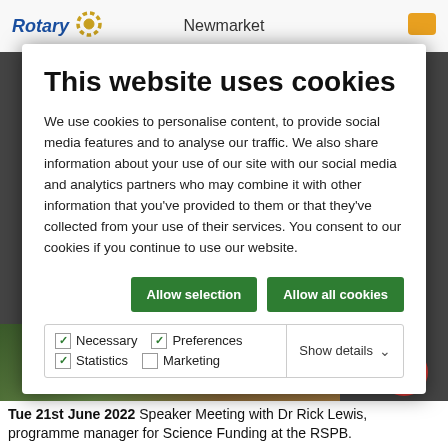Rotary | Newmarket
This website uses cookies
We use cookies to personalise content, to provide social media features and to analyse our traffic. We also share information about your use of our site with our social media and analytics partners who may combine it with other information that you've provided to them or that they've collected from your use of their services. You consent to our cookies if you continue to use our website.
Allow selection | Allow all cookies
Necessary | Preferences | Statistics | Marketing | Show details
Tue 21st June 2022 Speaker Meeting with Dr Rick Lewis, programme manager for Science Funding at the RSPB.